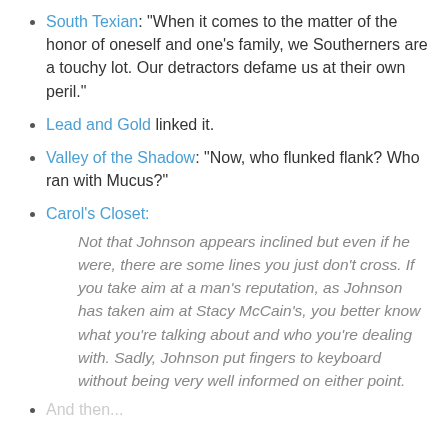South Texian: "When it comes to the matter of the honor of oneself and one's family, we Southerners are a touchy lot. Our detractors defame us at their own peril."
Lead and Gold linked it.
Valley of the Shadow: "Now, who flunked flank? Who ran with Mucus?"
Carol's Closet:
Not that Johnson appears inclined but even if he were, there are some lines you just don't cross. If you take aim at a man's reputation, as Johnson has taken aim at Stacy McCain's, you better know what you're talking about and who you're dealing with. Sadly, Johnson put fingers to keyboard without being very well informed on either point.
And then...